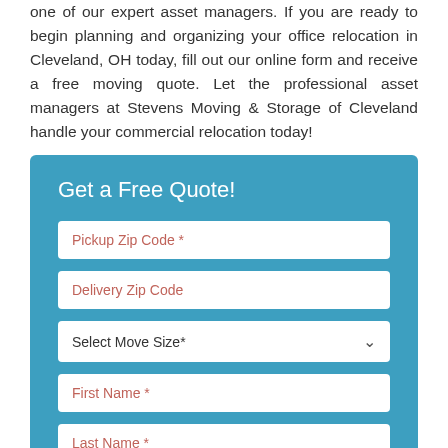one of our expert asset managers. If you are ready to begin planning and organizing your office relocation in Cleveland, OH today, fill out our online form and receive a free moving quote. Let the professional asset managers at Stevens Moving & Storage of Cleveland handle your commercial relocation today!
[Figure (other): A blue form box titled 'Get a Free Quote!' containing five input fields: Pickup Zip Code *, Delivery Zip Code, Select Move Size* (dropdown), First Name *, Last Name *]